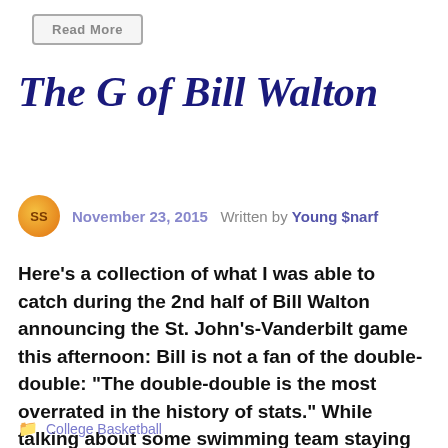[Figure (other): Read More button with gray border]
The G of Bill Walton
November 23, 2015  Written by Young $narf
Here’s a collection of what I was able to catch during the 2nd half of Bill Walton announcing the St. John’s-Vanderbilt game this afternoon: Bill is not a fan of the double-double: “The double-double is the most overrated in the history of stats.” While talking about some swimming team staying near his hotel: “17 of […]
College Basketball